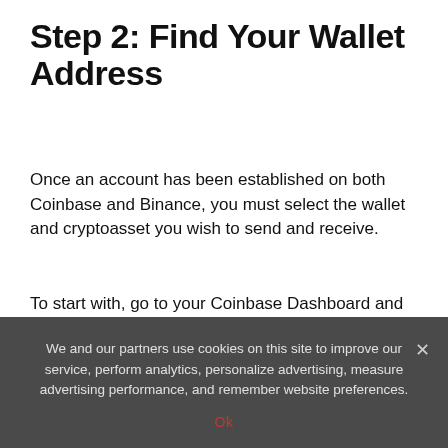Step 2: Find Your Wallet Address
Once an account has been established on both Coinbase and Binance, you must select the wallet and cryptoasset you wish to send and receive.
To start with, go to your Coinbase Dashboard and select the assets tab, where you have an overview of all of your cryptoassets on the exchange. Here, select the asset you wish to have transferred to your Binance account.
For instance, you can click on Bitcoin and be taken to Coinbase’s overview page for Bitcoin, which includes price data and market information.
We and our partners use cookies on this site to improve our service, perform analytics, personalize advertising, measure advertising performance, and remember website preferences.